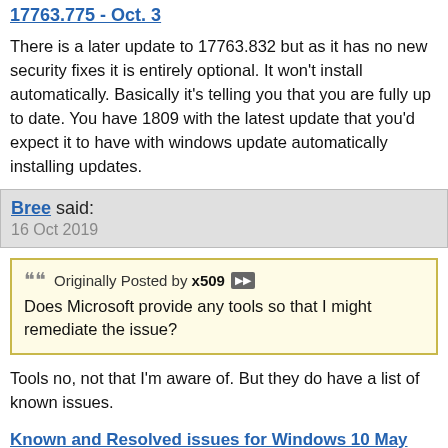Cumulative Update KB 17763.775 to Windows 10 1809 Build 17763.775 - Oct. 3
There is a later update to 17763.832 but as it has no new security fixes it is entirely optional. It won't install automatically. Basically it's telling you that you are fully up to date. You have 1809 with the latest update that you'd expect it to have with windows update automatically installing updates.
Bree said:
16 Oct 2019
Originally Posted by x509
Does Microsoft provide any tools so that I might remediate the issue?
Tools no, not that I'm aware of. But they do have a list of known issues.
Known and Resolved issues for Windows 10 May 2019 Update version 1903